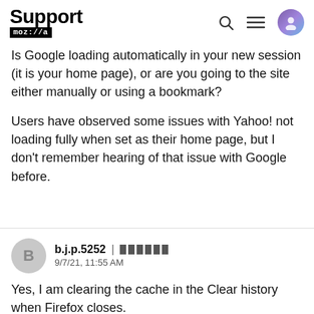Support moz://a
Is Google loading automatically in your new session (it is your home page), or are you going to the site either manually or using a bookmark?
Users have observed some issues with Yahoo! not loading fully when set as their home page, but I don't remember hearing of that issue with Google before.
b.j.p.5252 | 9/7/21, 11:55 AM
Yes, I am clearing the cache in the Clear history when Firefox closes.